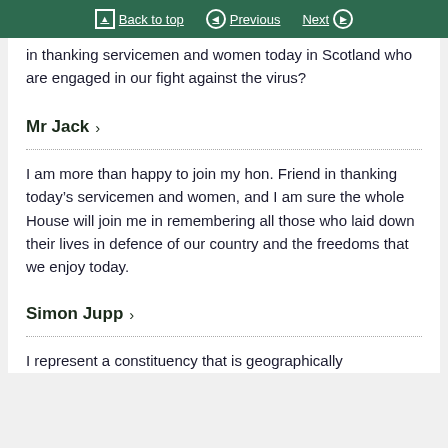Back to top | Previous | Next
in thanking servicemen and women today in Scotland who are engaged in our fight against the virus?
Mr Jack >
I am more than happy to join my hon. Friend in thanking today’s servicemen and women, and I am sure the whole House will join me in remembering all those who laid down their lives in defence of our country and the freedoms that we enjoy today.
Simon Jupp >
I represent a constituency that is geographically